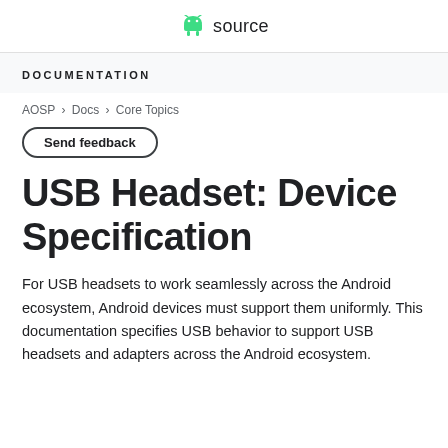source
DOCUMENTATION
AOSP > Docs > Core Topics
Send feedback
USB Headset: Device Specification
For USB headsets to work seamlessly across the Android ecosystem, Android devices must support them uniformly. This documentation specifies USB behavior to support USB headsets and adapters across the Android ecosystem.